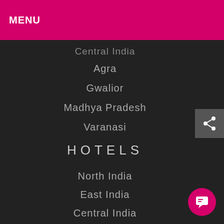Manipur
MENU
Central India
Agra
Gwalior
Madhya Pradesh
Varanasi
HOTELS
North India
East India
Central India
South India
West India